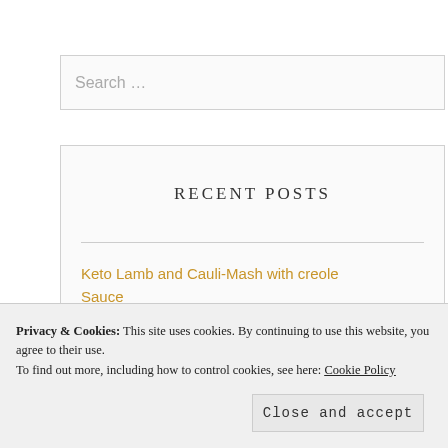Search …
RECENT POSTS
Keto Lamb and Cauli-Mash with creole Sauce
Privacy & Cookies: This site uses cookies. By continuing to use this website, you agree to their use.
To find out more, including how to control cookies, see here: Cookie Policy
Close and accept